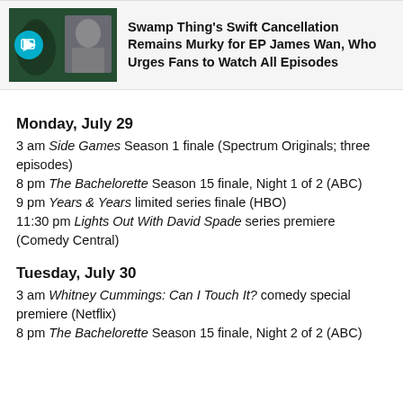[Figure (photo): Swamp Thing promotional banner with thumbnail image and play icon]
Swamp Thing's Swift Cancellation Remains Murky for EP James Wan, Who Urges Fans to Watch All Episodes
Monday, July 29
3 am Side Games Season 1 finale (Spectrum Originals; three episodes)
8 pm The Bachelorette Season 15 finale, Night 1 of 2 (ABC)
9 pm Years & Years limited series finale (HBO)
11:30 pm Lights Out With David Spade series premiere (Comedy Central)
Tuesday, July 30
3 am Whitney Cummings: Can I Touch It? comedy special premiere (Netflix)
8 pm The Bachelorette Season 15 finale, Night 2 of 2 (ABC)